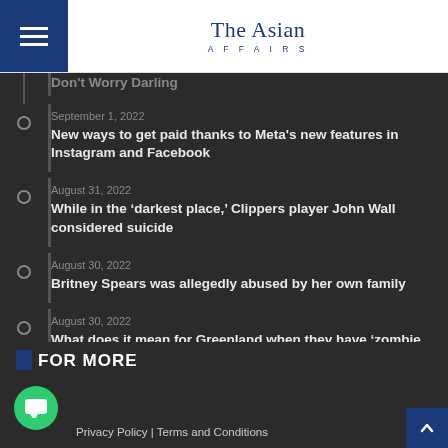The Asian Affairs
Don't Worry Darling
September 1, 2022 — New ways to get paid thanks to Meta's new features in Instagram and Facebook
August 31, 2022 — While in the ‘darkest place,’ Clippers player John Wall considered suicide
August 30, 2022 — Britney Spears was allegedly abused by her own family
August 30, 2022 — What does it mean for Greenland when they have ‘zombie ice’?
FOR MORE
Privacy Policy | Terms and Conditions